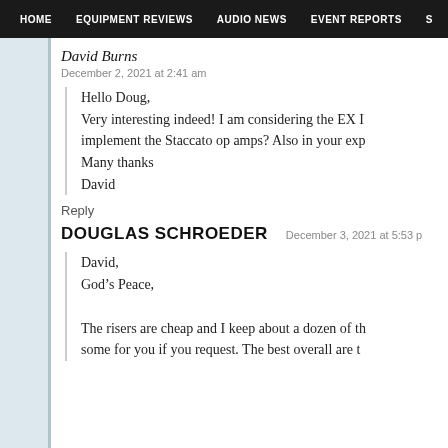HOME   EQUIPMENT REVIEWS   AUDIO NEWS   EVENT REPORTS   S
David Burns
December 2, 2021 at 2:41 am
Hello Doug,
Very interesting indeed! I am considering the EX I implement the Staccato op amps? Also in your exp
Many thanks
David
Reply
DOUGLAS SCHROEDER   December 3, 2021 at 5:53 p
David,
God’s Peace,

The risers are cheap and I keep about a dozen of th some for you if you request. The best overall are t